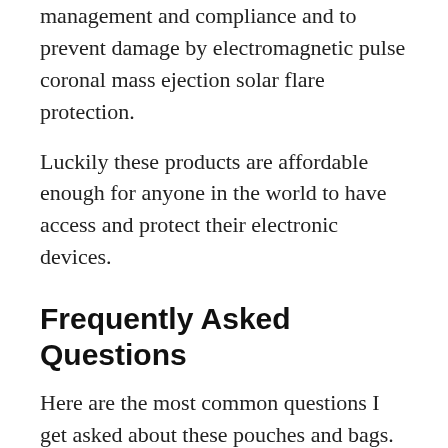management and compliance and to prevent damage by electromagnetic pulse coronal mass ejection solar flare protection.
Luckily these products are affordable enough for anyone in the world to have access and protect their electronic devices.
Frequently Asked Questions
Here are the most common questions I get asked about these pouches and bags.
What Are These Bags?
Faraday bags are military grade bags that blocks RF signals from being received or sent